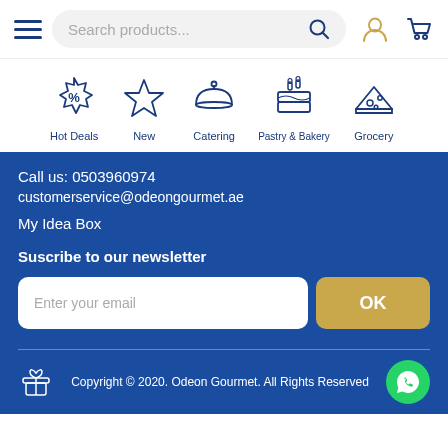[Figure (screenshot): Top navigation bar with hamburger menu, search box with placeholder 'Search products...', search icon, user icon, and cart icon]
[Figure (infographic): Five category navigation icons in blue outline style: Hot Deals (percent badge), New (star), Catering (cloche), Pastry & Bakery (cake), Grocery (cheese wedge)]
Call us: 0503960974
customerservice@odeongourmet.ae
My Idea Box
Suscribe to our newsletter
[Figure (screenshot): Email subscription form with white input box 'Enter your email' and a golden 'OK' button]
Copyright © 2020. Odeon Gourmet. All Rights Reserved